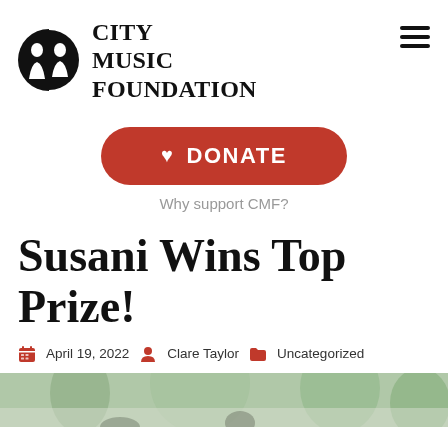[Figure (logo): City Music Foundation logo: circular black emblem with two face silhouettes, beside bold serif text reading CITY MUSIC FOUNDATION]
Susani Wins Top Prize!
April 19, 2022   Clare Taylor   Uncategorized
[Figure (photo): Outdoor photo showing trees and blurred natural background]